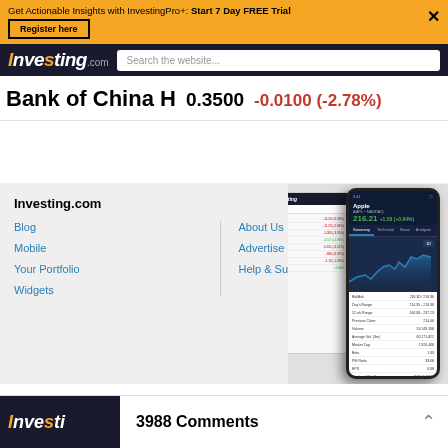Get Actionable Insights with InvestingPro+: Start 7 Day FREE Trial  Register here
Investing.com  Search the website...
Bank of China H  0.3500  -0.0100 (-2.78%)
[Figure (screenshot): Screenshot of Investing.com app on a smartphone showing Apple stock data with a chart, alongside a desktop browser view]
Investing.com
Blog
Mobile
Your Portfolio
Widgets
About Us
Advertise
Help & Support
3988 Comments